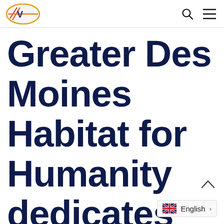Greater Des Moines Habitat for Humanity — site header with logo and navigation icons
Greater Des Moines Habitat for Humanity dedicates 400th h